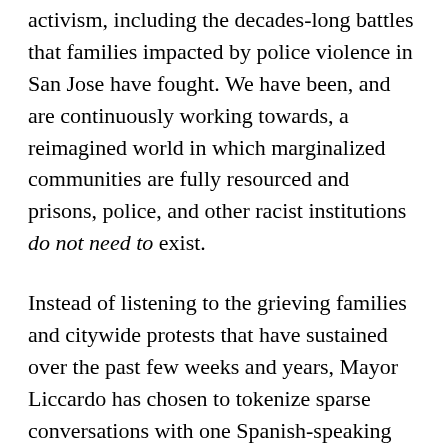activism, including the decades-long battles that families impacted by police violence in San Jose have fought. We have been, and are continuously working towards, a reimagined world in which marginalized communities are fully resourced and prisons, police, and other racist institutions do not need to exist.
Instead of listening to the grieving families and citywide protests that have sustained over the past few weeks and years, Mayor Liccardo has chosen to tokenize sparse conversations with one Spanish-speaking community group to proudly assert that he listens to communities of color. This level of ignorance is baffling, even shameful for someone that proclaims himself a progressive leader in our community.